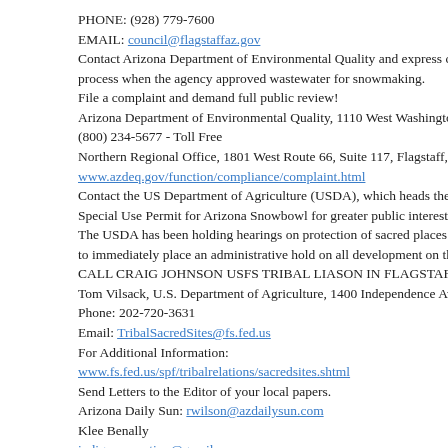PHONE: (928) 779-7600
EMAIL: council@flagstaffaz.gov
Contact Arizona Department of Environmental Quality and express concerns about the process when the agency approved wastewater for snowmaking.
File a complaint and demand full public review!
Arizona Department of Environmental Quality, 1110 West Washington St...
(800) 234-5677 - Toll Free
Northern Regional Office, 1801 West Route 66, Suite 117, Flagstaff, Ariz...
www.azdeq.gov/function/compliance/complaint.html
Contact the US Department of Agriculture (USDA), which heads the Forest Service, to review the Special Use Permit for Arizona Snowbowl for greater public interest.
The USDA has been holding hearings on protection of sacred places due to pressure from tribes. Ask them to immediately place an administrative hold on all development on the San Francisco Peaks.
CALL CRAIG JOHNSON USFS TRIBAL LIASON IN FLAGSTAFF, AZ AT...
Tom Vilsack, U.S. Department of Agriculture, 1400 Independence Ave., S...
Phone: 202-720-3631
Email: TribalSacredSites@fs.fed.us
For Additional Information:
www.fs.fed.us/spf/tribalrelations/sacredsites.shtml
Send Letters to the Editor of your local papers.
Arizona Daily Sun: rwilson@azdailysun.com
Klee Benally
indigenousaction@gmail.com
http://www.indigenousaction.org/ - Independent Indigenous Media